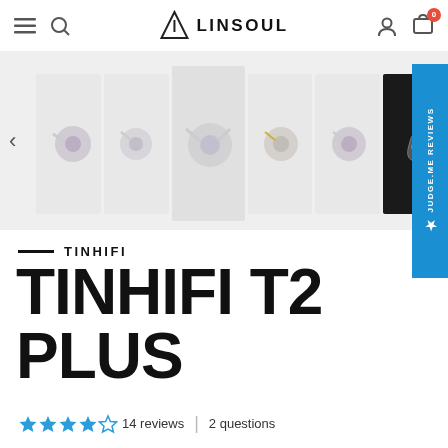LINSOUL
[Figure (screenshot): Product image gallery strip showing multiple views of TINHIFI T2 Plus in-ear monitors. Thumbnails include side views, front views, and a dark background close-up.]
TINHIFI
TINHIFI T2 PLUS
14 reviews  |  2 questions